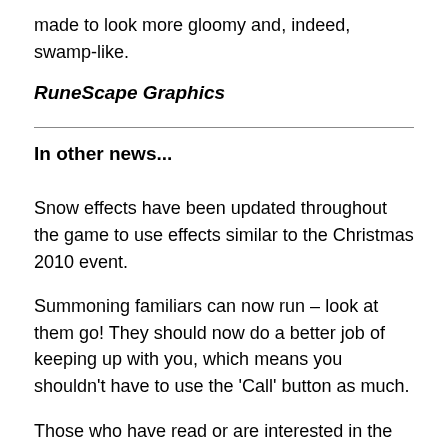made to look more gloomy and, indeed, swamp-like.
RuneScape Graphics
In other news...
Snow effects have been updated throughout the game to use effects similar to the Christmas 2010 event.
Summoning familiars can now run – look at them go! They should now do a better job of keeping up with you, which means you shouldn't have to use the 'Call' button as much.
Those who have read or are interested in the first official RuneScape novel, Betrayal at Falador by T.S.